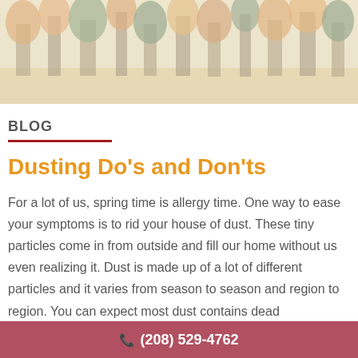[Figure (photo): Outdoor autumn landscape with trees in fall colors and a field, used as a hero/banner image at the top of the page]
BLOG
Dusting Do's and Don'ts
For a lot of us, spring time is allergy time. One way to ease your symptoms is to rid your house of dust. These tiny particles come in from outside and fill our home without us even realizing it. Dust is made up of a lot of different particles and it varies from season to season and region to region. You can expect most dust contains dead
(208) 529-4762